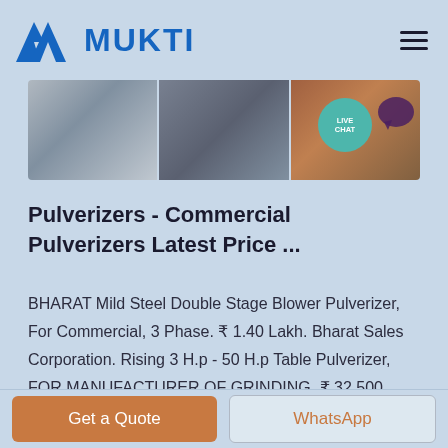MUKTI
[Figure (photo): Banner image showing industrial/mining conveyor and processing equipment, divided into three sections]
Pulverizers - Commercial Pulverizers Latest Price ...
BHARAT Mild Steel Double Stage Blower Pulverizer, For Commercial, 3 Phase. ₹ 1.40 Lakh. Bharat Sales Corporation. Rising 3 H.p - 50 H.p Table Pulverizer, FOR MANUFACTURER OF GRINDING. ₹ 32,500. Rising Industries. 5-20 Hp Single Phase 5 KW Industrial
Get a Quote   WhatsApp